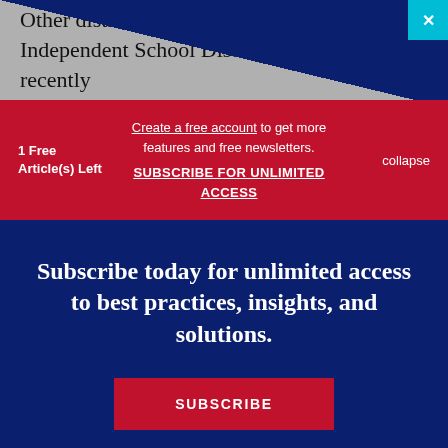Other districts have followed suit. Conroe Independent School District, in Texas, recently
1 Free Article(s) Left
Create a free account to get more features and free newsletters. SUBSCRIBE FOR UNLIMITED ACCESS
collapse
Subscribe today for unlimited access to best practices, insights, and solutions.
SUBSCRIBE